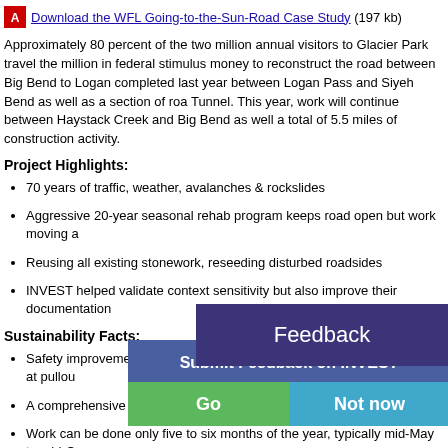Download the WFL Going-to-the-Sun-Road Case Study (197 kb)
Approximately 80 percent of the two million annual visitors to Glacier Park travel the million in federal stimulus money to reconstruct the road between Big Bend to Logan completed last year between Logan Pass and Siyeh Bend as well as a section of roa Tunnel. This year, work will continue between Haystack Creek and Big Bend as well a total of 5.5 miles of construction activity.
Project Highlights:
70 years of traffic, weather, avalanches & rockslides
Aggressive 20-year seasonal rehab program keeps road open but work moving a
Reusing all existing stonework, reseeding disturbed roadsides
INVEST helped validate context sensitivity but also improve their documentation
Sustainability Facts:
Safety improvements will be made at high-priority rockfall locations and at pullout
A comprehensive mitigation program strives to limit impacts on tourism.
Work can be done only five to six months of the year, typically mid-May to mid-Oc
During construction, visitors can still drive their own vehicles over the road as usu the park, and taking regularly scheduled shuttle buses to the most popular sti